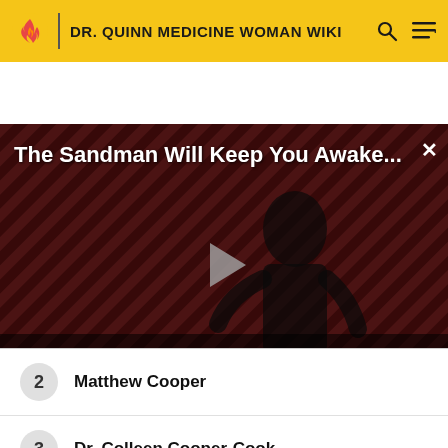DR. QUINN MEDICINE WOMAN WIKI
[Figure (screenshot): Video player showing 'The Sandman Will Keep You Awake...' with a dark figure on a diagonal striped red/dark background, THE LOOP watermark, play button in center, NaN:NaN timestamp, close X button.]
2  Matthew Cooper
3  Dr. Colleen Cooper-Cook